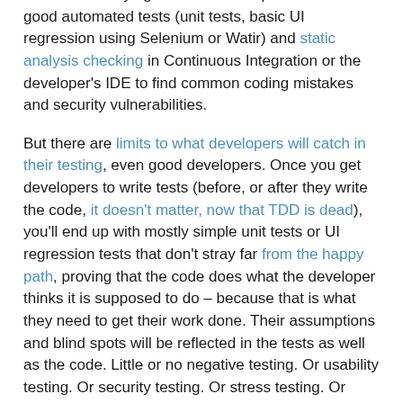This means relying more on developers to write good automated tests (unit tests, basic UI regression using Selenium or Watir) and static analysis checking in Continuous Integration or the developer's IDE to find common coding mistakes and security vulnerabilities.
But there are limits to what developers will catch in their testing, even good developers. Once you get developers to write tests (before, or after they write the code, it doesn't matter, now that TDD is dead), you'll end up with mostly simple unit tests or UI regression tests that don't stray far from the happy path, proving that the code does what the developer thinks it is supposed to do – because that is what they need to get their work done. Their assumptions and blind spots will be reflected in the tests as well as the code. Little or no negative testing. Or usability testing. Or security testing. Or stress testing. Or system-level integration testing. All of which still has to be done by somebody - unless you expect your customers to find your bugs for you.
It will take a long time before the team learns how to write good, efficient tests, and before they build up a set of tests that will catch real bugs, rather than just getting in the way